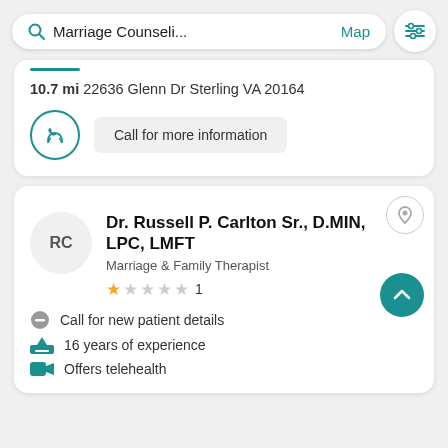[Figure (screenshot): Search bar showing 'Marriage Counseli...' with Map link and filter icon]
10.7 mi 22636 Glenn Dr Sterling VA 20164
Call for more information
Dr. Russell P. Carlton Sr., D.MIN, LPC, LMFT
Marriage & Family Therapist
1 (rating)
Call for new patient details
16 years of experience
Offers telehealth